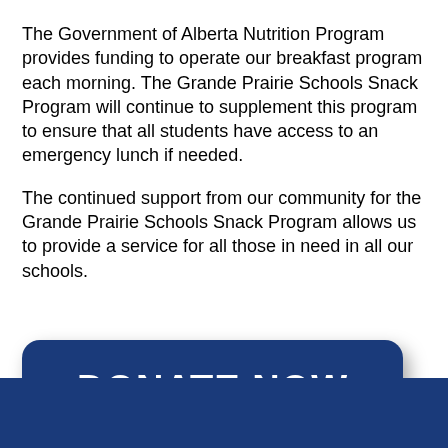The Government of Alberta Nutrition Program provides funding to operate our breakfast program each morning. The Grande Prairie Schools Snack Program will continue to supplement this program to ensure that all students have access to an emergency lunch if needed.
The continued support from our community for the Grande Prairie Schools Snack Program allows us to provide a service for all those in need in all our schools.
[Figure (other): A large dark blue rounded rectangle button with white bold text reading DONATE NOW, with a drop shadow beneath it.]